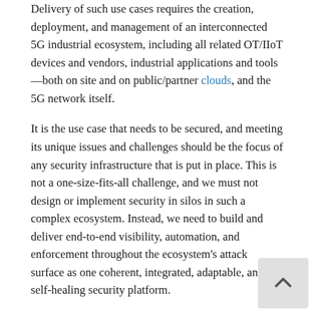Delivery of such use cases requires the creation, deployment, and management of an interconnected 5G industrial ecosystem, including all related OT/IIoT devices and vendors, industrial applications and tools—both on site and on public/partner clouds, and the 5G network itself.
It is the use case that needs to be secured, and meeting its unique issues and challenges should be the focus of any security infrastructure that is put in place. This is not a one-size-fits-all challenge, and we must not design or implement security in silos in such a complex ecosystem. Instead, we need to build and deliver end-to-end visibility, automation, and enforcement throughout the ecosystem's attack surface as one coherent, integrated, adaptable, and self-healing security platform.
Native 5G Security is Not Enough